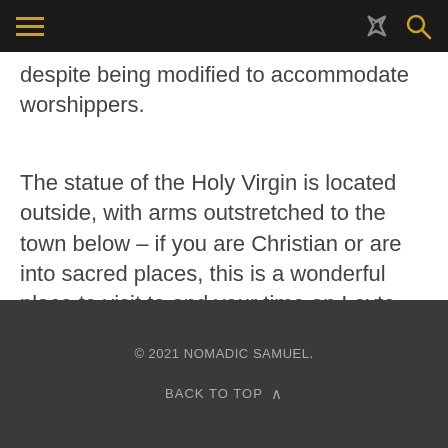[navigation bar with hamburger menu, share icon, and search icon]
despite being modified to accommodate worshippers.
The statue of the Holy Virgin is located outside, with arms outstretched to the town below – if you are Christian or are into sacred places, this is a wonderful place to visit to end your time on Leyte.
© 2021 NOMADIC SAMUEL. BACK TO TOP ^